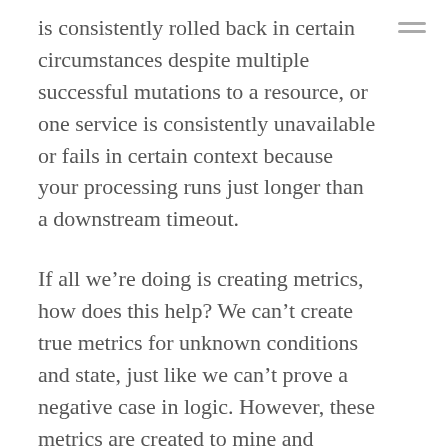is consistently rolled back in certain circumstances despite multiple successful mutations to a resource, or one service is consistently unavailable or fails in certain context because your processing runs just longer than a downstream timeout.
If all we're doing is creating metrics, how does this help? We can't create true metrics for unknown conditions and state, just like we can't prove a negative case in logic. However, these metrics are created to mine and expose hints of an undesirable outcome not to obtain a value directly. What we're measuring is the effects of any arbitrary metric on consumer success, so while the value of the metric could be seemingly nonsensical on its own, the knowledge of its